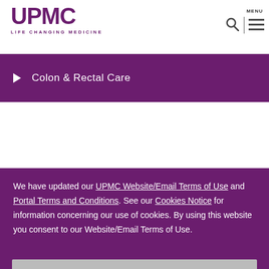[Figure (logo): UPMC logo with text LIFE CHANGING MEDICINE]
MENU
▶  Colon & Rectal Care
We have updated our UPMC Website/Email Terms of Use and Portal Terms and Conditions. See our Cookies Notice for information concerning our use of cookies. By using this website you consent to our Website/Email Terms of Use.